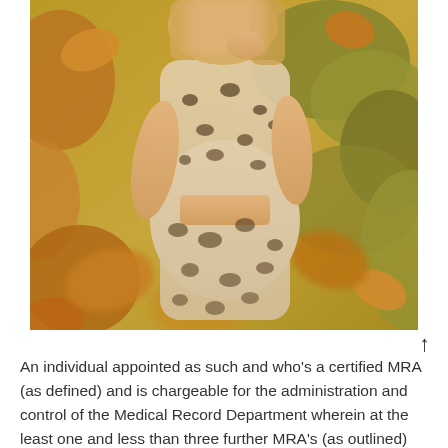[Figure (photo): A pregnant woman wearing a leopard print outfit (crop top and skirt/pants) standing outdoors among autumn leaves and green foliage. Her face is cropped/blurred at the top. The photo has a warm, golden-toned color cast.]
An individual appointed as such and who's a certified MRA (as defined) and is chargeable for the administration and control of the Medical Record Department wherein at the least one and less than three further MRA's (as outlined)